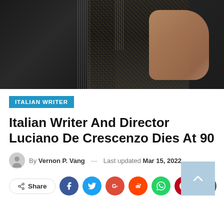[Figure (photo): Photograph of Luciano De Crescenzo in a dark suit with patterned tie, hand raised in a wave or greeting gesture]
ITALIAN WRITER
Italian Writer And Director Luciano De Crescenzo Dies At 90
By Vernon P. Vang — Last updated Mar 15, 2022
[Figure (infographic): Social share buttons row: Share button, Facebook, Twitter, Google+, Reddit, WhatsApp, Pinterest, Email icons]